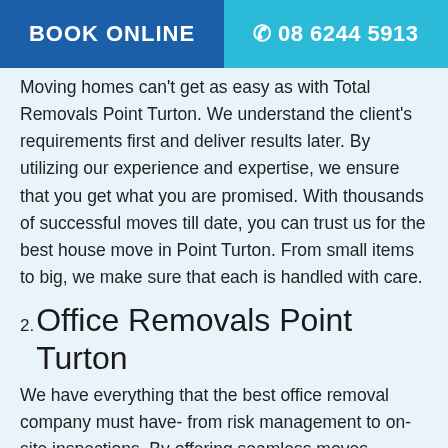BOOK ONLINE  ☎ 08 6244 5913
Moving homes can't get as easy as with Total Removals Point Turton. We understand the client's requirements first and deliver results later. By utilizing our experience and expertise, we ensure that you get what you are promised. With thousands of successful moves till date, you can trust us for the best house move in Point Turton. From small items to big, we make sure that each is handled with care.
2. Office Removals Point Turton
We have everything that the best office removal company must have- from risk management to on-site inspections. By offering seamless moves without disturbing your office environment, we